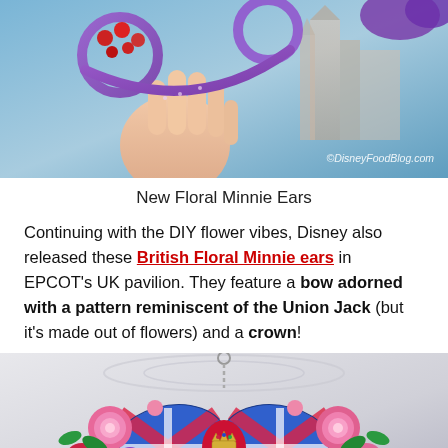[Figure (photo): A hand holding purple Minnie Mouse ears with red berries/flowers against a blue sky background with a Disney castle visible. Watermark reads ©DisneyFoodBlog.com]
New Floral Minnie Ears
Continuing with the DIY flower vibes, Disney also released these British Floral Minnie ears in EPCOT's UK pavilion. They feature a bow adorned with a pattern reminiscent of the Union Jack (but it's made out of flowers) and a crown!
[Figure (photo): British Floral Minnie ears featuring a Union Jack pattern bow decorated with pink, red, and purple flowers and a small crown, hanging from a silver chain keyring against a white ornate background.]